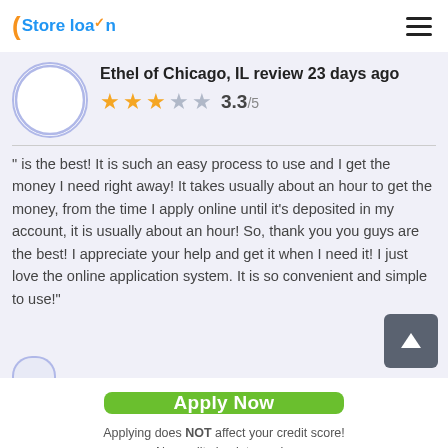Store loan
Ethel of Chicago, IL review 23 days ago
3.3/5
" is the best! It is such an easy process to use and I get the money I need right away! It takes usually about an hour to get the money, from the time I apply online until it's deposited in my account, it is usually about an hour! So, thank you you guys are the best! I appreciate your help and get it when I need it! I just love the online application system. It is so convenient and simple to use!"
Apply Now
Applying does NOT affect your credit score!
No credit check to apply.